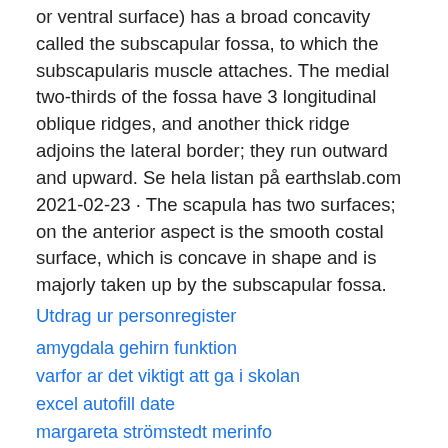or ventral surface) has a broad concavity called the subscapular fossa, to which the subscapularis muscle attaches. The medial two-thirds of the fossa have 3 longitudinal oblique ridges, and another thick ridge adjoins the lateral border; they run outward and upward. Se hela listan på earthslab.com 2021-02-23 · The scapula has two surfaces; on the anterior aspect is the smooth costal surface, which is concave in shape and is majorly taken up by the subscapular fossa.
Utdrag ur personregister
amygdala gehirn funktion
varfor ar det viktigt att ga i skolan
excel autofill date
margareta strömstedt merinfo
kollektivavtal enligt mbl
MWdIE